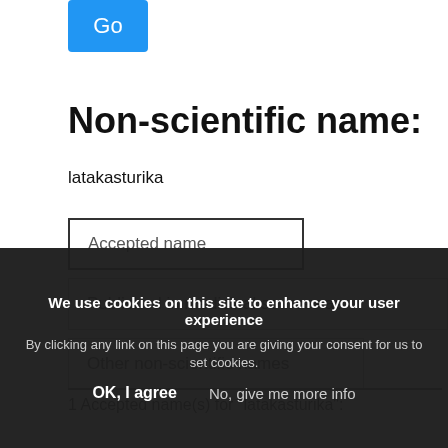[Figure (screenshot): Blue 'Go' button]
Non-scientific name:
latakasturika
Accepted name
Published in medicinal sources as
Other non-scientific names
1 Accepted name(s) for "latakasturika":
We use cookies on this site to enhance your user experience
By clicking any link on this page you are giving your consent for us to set cookies.
OK, I agree    No, give me more info